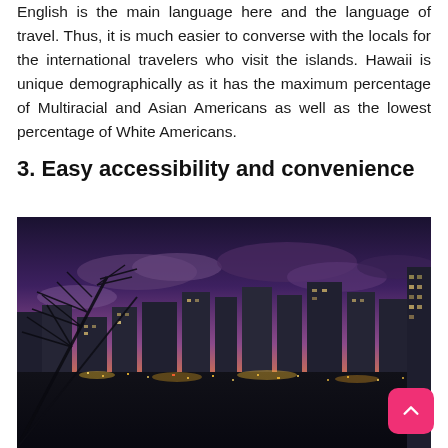English is the main language here and the language of travel. Thus, it is much easier to converse with the locals for the international travelers who visit the islands. Hawaii is unique demographically as it has the maximum percentage of Multiracial and Asian Americans as well as the lowest percentage of White Americans.
3. Easy accessibility and convenience
[Figure (photo): City skyline at dusk/sunset with tall buildings, orange and purple sky, lights of the city visible, palm fronds visible in the foreground left]